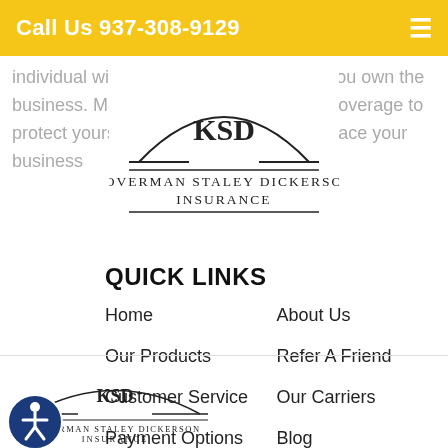Call Us 937-308-9129
individual within a large organization or you own the business. Make sure you have the best coverage to protect yourself against all the risks that face your business
[Figure (logo): KSD Koverman Staley Dickerson Insurance logo (large, overlaid on text)]
[Figure (logo): KSD Koverman Staley Dickerson Insurance logo (smaller, footer area)]
QUICK LINKS
Home
About Us
Our Products
Refer A Friend
Customer Service
Our Carriers
Payment Options
Blog